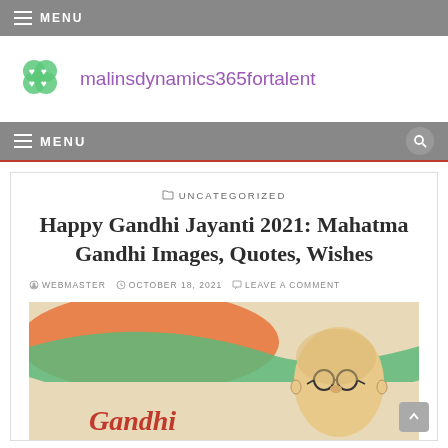MENU
[Figure (logo): Green four-leaf clover logo]
malinsdynamics365fortalent
MENU (navigation bar with search icon)
UNCATEGORIZED
Happy Gandhi Jayanti 2021: Mahatma Gandhi Images, Quotes, Wishes
WEBMASTER  OCTOBER 18, 2021  LEAVE A COMMENT
[Figure (illustration): Gandhi Jayanti illustration with Indian map in saffron, white and green, featuring a cartoon portrait of Mahatma Gandhi and stylized Gandhi text in red cursive script on a beige background]